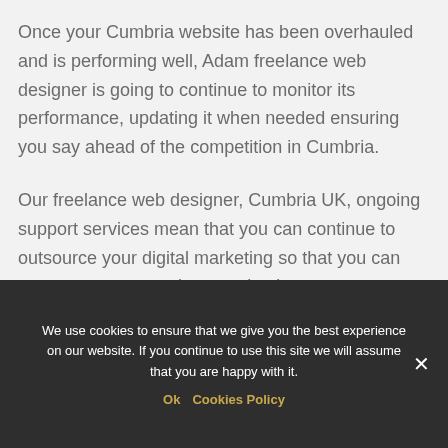Once your Cumbria website has been overhauled and is performing well, Adam freelance web designer is going to continue to monitor its performance, updating it when needed ensuring you say ahead of the competition in Cumbria.
Our freelance web designer, Cumbria UK, ongoing support services mean that you can continue to outsource your digital marketing so that you can concentrate on running your business.
As you don't need to build your own in-house face with web design, it's considered to be a one-and... This means that while conversion...
We use cookies to ensure that we give you the best experience on our website. If you continue to use this site we will assume that you are happy with it.